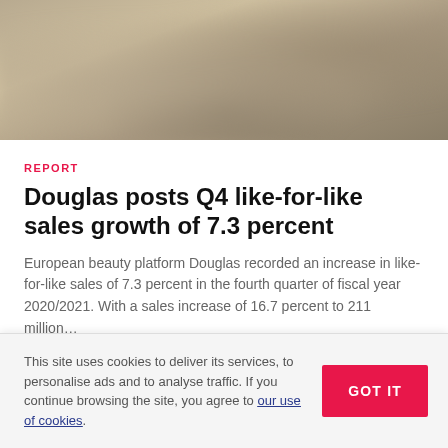[Figure (photo): Blurred background photo with warm beige/tan tones, appears to be an interior or product shot]
REPORT
Douglas posts Q4 like-for-like sales growth of 7.3 percent
European beauty platform Douglas recorded an increase in like-for-like sales of 7.3 percent in the fourth quarter of fiscal year 2020/2021. With a sales increase of 16.7 percent to 211 million…
Dec 21, 2021
This site uses cookies to deliver its services, to personalise ads and to analyse traffic. If you continue browsing the site, you agree to our use of cookies.